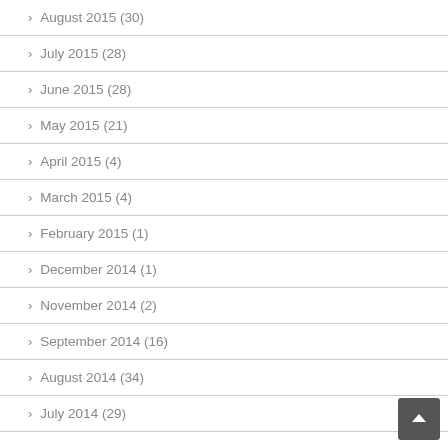August 2015 (30)
July 2015 (28)
June 2015 (28)
May 2015 (21)
April 2015 (4)
March 2015 (4)
February 2015 (1)
December 2014 (1)
November 2014 (2)
September 2014 (16)
August 2014 (34)
July 2014 (29)